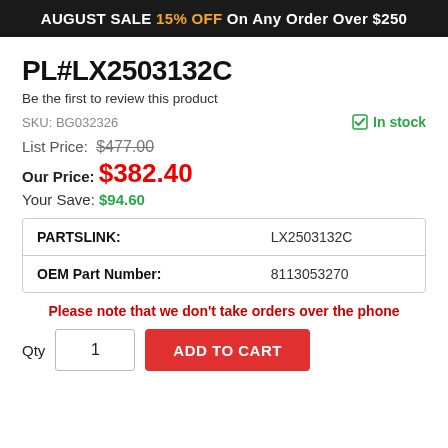AUGUST SALE 15% OFF On Any Order Over $250
PL#LX2503132C
Be the first to review this product
SKU: BG032326
In stock
List Price: $477.00
Our Price: $382.40
Your Save: $94.60
| PARTSLINK: | LX2503132C |
| OEM Part Number: | 8113053270 |
Please note that we don't take orders over the phone